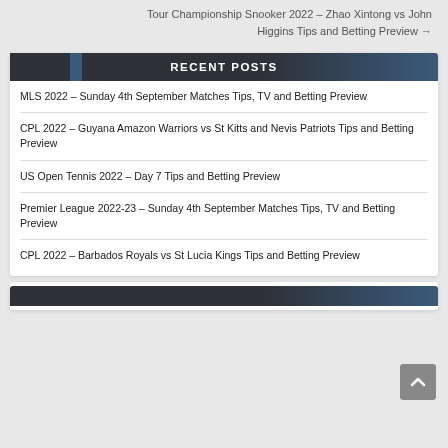Tour Championship Snooker 2022 – Zhao Xintong vs John Higgins Tips and Betting Preview →
RECENT POSTS
MLS 2022 – Sunday 4th September Matches Tips, TV and Betting Preview
CPL 2022 – Guyana Amazon Warriors vs St Kitts and Nevis Patriots Tips and Betting Preview
US Open Tennis 2022 – Day 7 Tips and Betting Preview
Premier League 2022-23 – Sunday 4th September Matches Tips, TV and Betting Preview
CPL 2022 – Barbados Royals vs St Lucia Kings Tips and Betting Preview